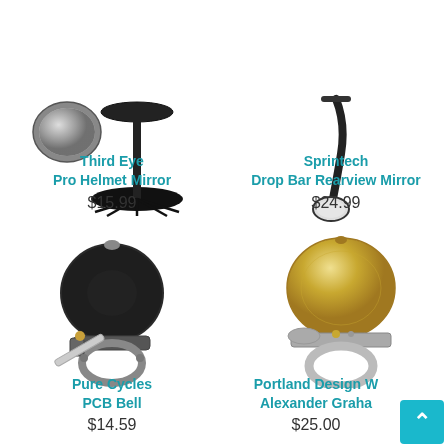[Figure (photo): Third Eye Pro Helmet Mirror product photo - small round mirror on a black stand]
[Figure (photo): Sprintech Drop Bar Rearview Mirror product photo - flexible arm with oval mirror]
Third Eye
Pro Helmet Mirror
Sprintech
Drop Bar Rearview Mirror
$15.99
$24.99
[Figure (photo): Pure Cycles PCB Bell product photo - black dome bell with silver clamp]
[Figure (photo): Portland Design Works Alexander Graham Bell product photo - gold dome bell with silver ring mount]
Pure Cycles
PCB Bell
Portland Design W...
Alexander Graha...
$14.59
$25.00